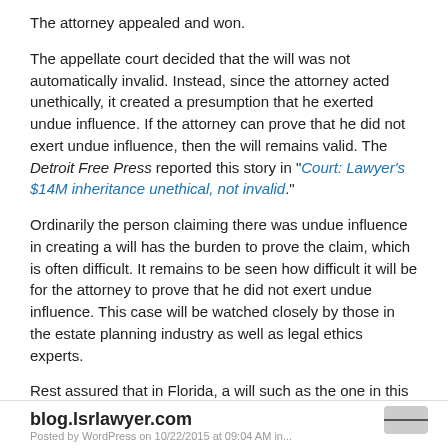The attorney appealed and won.
The appellate court decided that the will was not automatically invalid. Instead, since the attorney acted unethically, it created a presumption that he exerted undue influence. If the attorney can prove that he did not exert undue influence, then the will remains valid. The Detroit Free Press reported this story in "Court: Lawyer's $14M inheritance unethical, not invalid."
Ordinarily the person claiming there was undue influence in creating a will has the burden to prove the claim, which is often difficult. It remains to be seen how difficult it will be for the attorney to prove that he did not exert undue influence. This case will be watched closely by those in the estate planning industry as well as legal ethics experts.
Rest assured that in Florida, a will such as the one in this case would be invalid on its face. If you have any questions about your will or other plans, please contact my office for a consultation.
Reference: Detroit Free Press (October 9, 2015) "Court: Lawyer's $14M inheritance unethical, not invalid."
blog.lsrlawyer.com